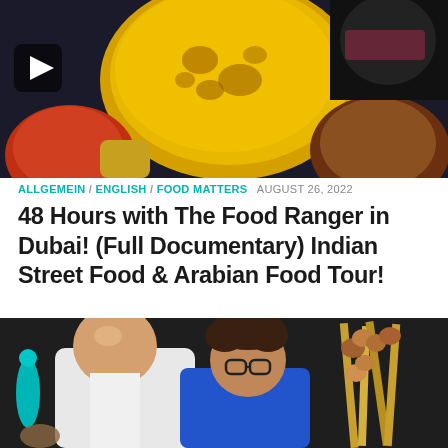[Figure (photo): Top photo showing colorful food including what appears to be flatbread being tossed, with bowls of food on a table. A play button icon is visible in the top-left corner. A person in a black shirt is partially visible at the top right.]
ALLGEMEIN / ENGLISH / FOOD MATTERS  AUGUST 26, 2022
48 Hours with The Food Ranger in Dubai! (Full Documentary) Indian Street Food & Arabian Food Tour!
Davidsbeenhere In December of 2021, I spent a week and a half eating my way through the United Arab Emirates. I mostly did a mix of local and Indian food, and I loved every...
[Figure (photo): Bottom photo showing two men smiling — one bald man in a white shirt on the left, and a shorter man with glasses and curly hair in a blue shirt on the right, both holding or near skewers of food. A teal decorative object is visible on the left side.]